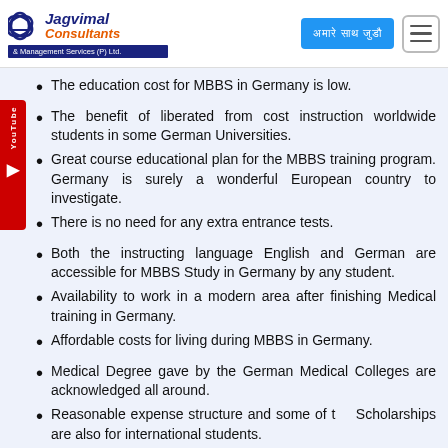Jagvimal Consultants & Management Services (P) Ltd.
The education cost for MBBS in Germany is low.
The benefit of liberated from cost instruction worldwide students in some German Universities.
Great course educational plan for the MBBS training program. Germany is surely a wonderful European country to investigate.
There is no need for any extra entrance tests.
Both the instructing language English and German are accessible for MBBS Study in Germany by any student.
Availability to work in a modern area after finishing Medical training in Germany.
Affordable costs for living during MBBS in Germany.
Medical Degree gave by the German Medical Colleges are acknowledged all around.
Reasonable expense structure and some of the Scholarships are also for international students.